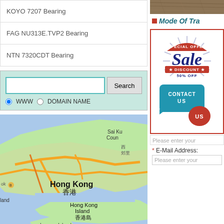KOYO 7207 Bearing
FAG NU313E.TVP2 Bearing
NTN 7320CDT Bearing
[Figure (screenshot): Search box with text input, Search button, and radio buttons for WWW and DOMAIN NAME options on a teal background]
[Figure (map): Google Maps view showing Hong Kong and surrounding areas including Sai Kung Country Park, Hong Kong Island, and Lamma Island]
[Figure (photo): Partial photo strip at top right showing wooden surface]
Mode Of Tra
[Figure (infographic): Special Offer Sale Discount 50% OFF badge in red and navy blue with rays]
[Figure (infographic): Contact Us speech bubble in blue and red]
Please enter your
* E-Mail Address:
Please enter your